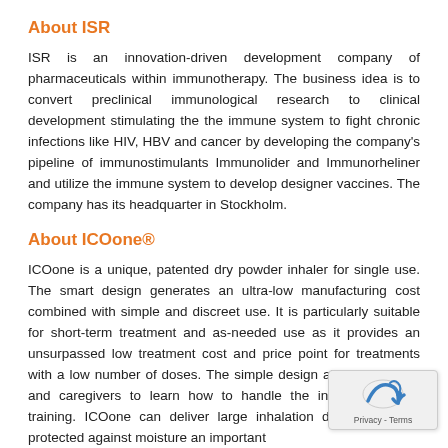About ISR
ISR is an innovation-driven development company of pharmaceuticals within immunotherapy. The business idea is to convert preclinical immunological research to clinical development stimulating the the immune system to fight chronic infections like HIV, HBV and cancer by developing the company's pipeline of immunostimulants Immunolider and Immunorheliner and utilize the immune system to develop designer vaccines. The company has its headquarter in Stockholm.
About ICOone®
ICOone is a unique, patented dry powder inhaler for single use. The smart design generates an ultra-low manufacturing cost combined with simple and discreet use. It is particularly suitable for short-term treatment and as-needed use as it provides an unsurpassed low treatment cost and price point for treatments with a low number of doses. The simple design also enables pa and caregivers to learn how to handle the inhalers minimal training. ICOone can deliver large inhalation d that are well protected against moisture an important